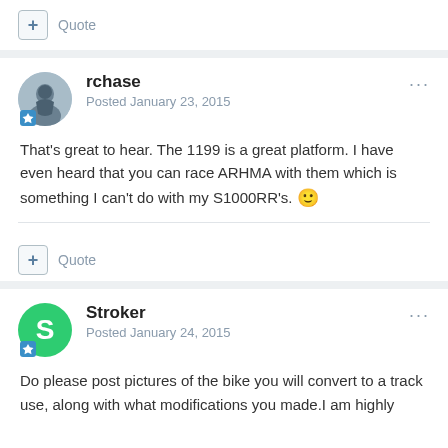+ Quote
rchase
Posted January 23, 2015
That's great to hear. The 1199 is a great platform. I have even heard that you can race ARHMA with them which is something I can't do with my S1000RR's. 🙂
+ Quote
Stroker
Posted January 24, 2015
Do please post pictures of the bike you will convert to a track use, along with what modifications you made.I am highly